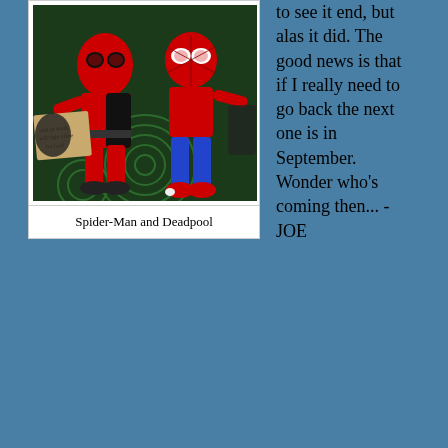[Figure (photo): Two cosplayers dressed as Spider-Man and Deadpool sitting together. One holds a cardboard sign. They are wearing red and black costumes. The background shows a patterned carpet.]
Spider-Man and Deadpool
to see it end, but alas it did. The good news is that if I really need to go back the next one is in September. Wonder who's coming then... -JOE